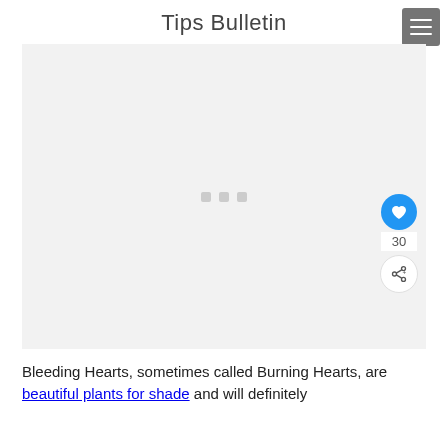Tips Bulletin
[Figure (other): Advertisement placeholder with three grey dots in center on light grey background]
Bleeding Hearts, sometimes called Burning Hearts, are beautiful plants for shade and will definitely